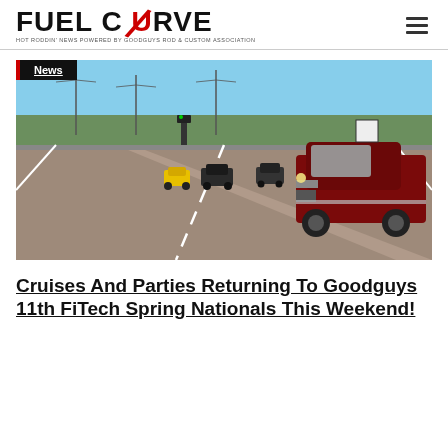[Figure (logo): Fuel Curve logo — bold black uppercase text 'FUEL CURVE' with a red diagonal slash through the U in CURVE, and tagline 'HOT RODDIN' NEWS POWERED BY GOODGUYS ROD & CUSTOM ASSOCIATION']
[Figure (photo): A line of vintage hot rod cars cruising down a desert highway in Arizona. In the foreground is a dark red/maroon 1930s-era street rod, followed by several black and yellow antique cars. Power lines and desert vegetation visible in the background under a blue sky.]
Cruises And Parties Returning To Goodguys 11th FiTech Spring Nationals This Weekend!